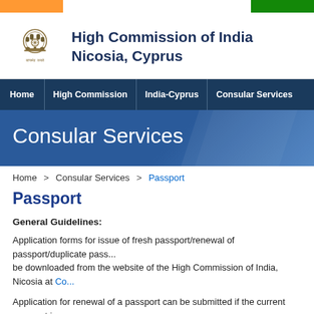Flag bar — Indian tricolor strip
High Commission of India
Nicosia, Cyprus
Home | High Commission | India-Cyprus | Consular Services
Consular Services
Home > Consular Services > Passport
Passport
General Guidelines:
Application forms for issue of fresh passport/renewal of passport/duplicate pass... be downloaded from the website of the High Commission of India, Nicosia at Co...
Application for renewal of a passport can be submitted if the current passport is... For example, applicant holding passport valid till 31-12-2015, can apply for ren...